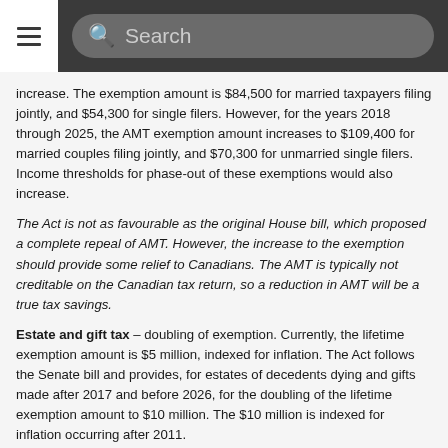Search
increase. The exemption amount is $84,500 for married taxpayers filing jointly, and $54,300 for single filers. However, for the years 2018 through 2025, the AMT exemption amount increases to $109,400 for married couples filing jointly, and $70,300 for unmarried single filers. Income thresholds for phase-out of these exemptions would also increase.
The Act is not as favourable as the original House bill, which proposed a complete repeal of AMT. However, the increase to the exemption should provide some relief to Canadians. The AMT is typically not creditable on the Canadian tax return, so a reduction in AMT will be a true tax savings.
Estate and gift tax – doubling of exemption. Currently, the lifetime exemption amount is $5 million, indexed for inflation. The Act follows the Senate bill and provides, for estates of decedents dying and gifts made after 2017 and before 2026, for the doubling of the lifetime exemption amount to $10 million. The $10 million is indexed for inflation occurring after 2011.
The exemption amount increase is welcomed news for U.S.